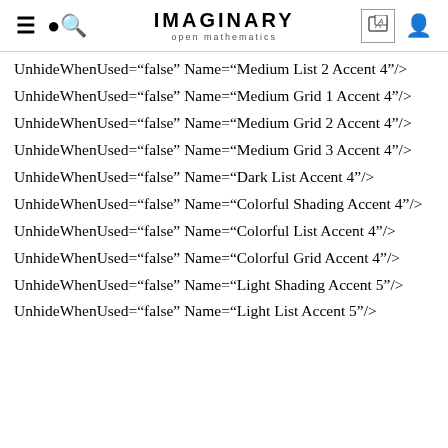IMAGINARY open mathematics
UnhideWhenUsed="false" Name="Medium List 2 Accent 4"/>
UnhideWhenUsed="false" Name="Medium Grid 1 Accent 4"/>
UnhideWhenUsed="false" Name="Medium Grid 2 Accent 4"/>
UnhideWhenUsed="false" Name="Medium Grid 3 Accent 4"/>
UnhideWhenUsed="false" Name="Dark List Accent 4"/>
UnhideWhenUsed="false" Name="Colorful Shading Accent 4"/>
UnhideWhenUsed="false" Name="Colorful List Accent 4"/>
UnhideWhenUsed="false" Name="Colorful Grid Accent 4"/>
UnhideWhenUsed="false" Name="Light Shading Accent 5"/>
UnhideWhenUsed="false" Name="Light List Accent 5"/>